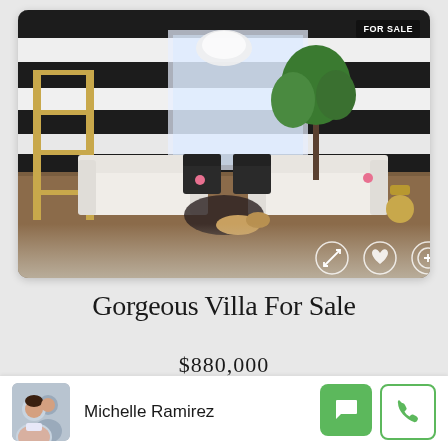[Figure (photo): Interior photo of a stylish living room with black and white striped walls, white sofas, black accent chairs, gold shelving, a large plant, and a chandelier. A 'FOR SALE' badge appears in the top right corner. Action icons (expand, heart, add) are visible at bottom right.]
Gorgeous Villa For Sale
$880,000
Michelle Ramirez